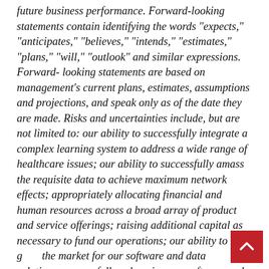future business performance. Forward-looking statements contain identifying the words "expects," "anticipates," "believes," "intends," "estimates," "plans," "will," "outlook" and similar expressions. Forward-looking statements are based on management's current plans, estimates, assumptions and projections, and speak only as of the date they are made. Risks and uncertainties include, but are not limited to: our ability to successfully integrate a complex learning system to address a wide range of healthcare issues; our ability to successfully amass the requisite data to achieve maximum network effects; appropriately allocating financial and human resources across a broad array of product and service offerings; raising additional capital as necessary to fund our operations; our ability to grow the market for our software and data solutions; successfully enhancing our software and data solutions